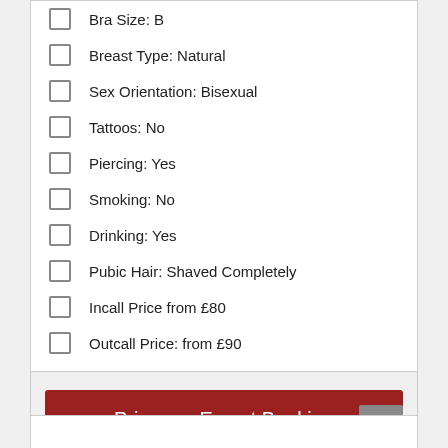Bra Size: B
Breast Type: Natural
Sex Orientation: Bisexual
Tattoos: No
Piercing: Yes
Smoking: No
Drinking: Yes
Pubic Hair: Shaved Completely
Incall Price from £80
Outcall Price: from £90
Primrose Escort Booking